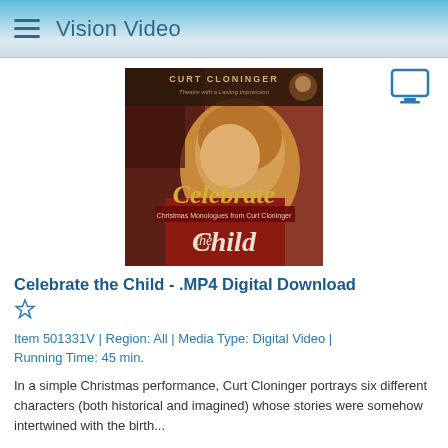Vision Video
[Figure (photo): Book/DVD cover for 'Celebrate the Child - Christmas Monologues from Curt Cloninger' showing a Renaissance-style painting of a child, with title text in gold script]
Celebrate the Child - .MP4 Digital Download
Item 501331V | Region: All | Media Type: Digital Video | Running Time: 45 min.
In a simple Christmas performance, Curt Cloninger portrays six different characters (both historical and imagined) whose stories were somehow intertwined with the birth...